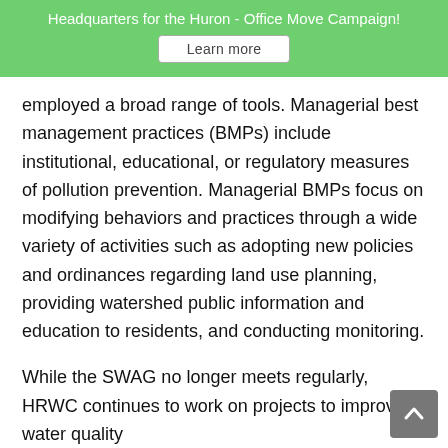Headquarters for the Huron - Office Move Campaign!
Learn more
employed a broad range of tools. Managerial best management practices (BMPs) include institutional, educational, or regulatory measures of pollution prevention. Managerial BMPs focus on modifying behaviors and practices through a wide variety of activities such as adopting new policies and ordinances regarding land use planning, providing watershed public information and education to residents, and conducting monitoring.
While the SWAG no longer meets regularly, HRWC continues to work on projects to improve water quality in the Huron-Huron County the HRWC is de...